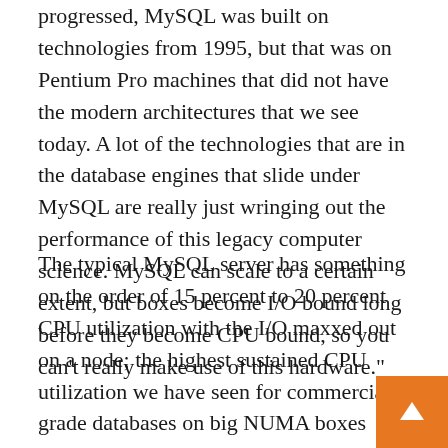progressed, MySQL was built on technologies from 1995, but that was on Pentium Pro machines that did not have the modern architectures that we see today. A lot of the technologies that are in the database engines that slide under MySQL are really just wringing out the performance of this legacy computer science. MySQL can scale to a certain extent, but boxes become I/O bound long before they become CPU bound, so you can’t really make use of this hardware.”
The typical MySQL server has something on the order of 15 percent to 20 percent CPU utilization with the I/O maxxed out on a node; the highest sustained CPU utilization we have seen for commercial-grade databases on big NUMA boxes running DB2 or Oracle databases are in the range of 40 percent CPU utilization. Clearly, there is some CPU that can be put to good u